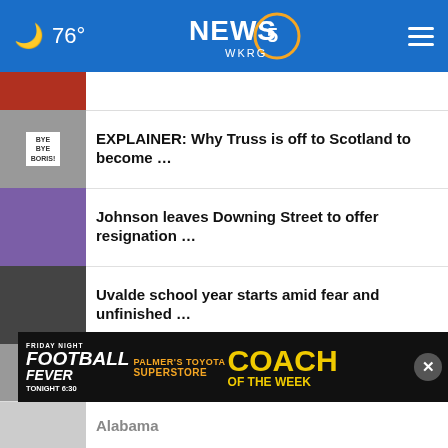🌙 76° NEWS 5 WKRG
[Figure (photo): Partial news thumbnail at top (red/dark image, partially visible)]
EXPLAINER: Why Truss is off to Scotland to become …
Johnson leaves Downing Street to offer resignation …
Uvalde school year starts amid fear and unfinished …
Canada police hunt remaining suspect in stabbing …
Medical Examiner's office runs out of space delaying …
[Figure (photo): Ad banner: Friday Night Football Fever - Palmer's Toyota Superstore Coach of the Week, Tonight 6:30]
… in Alabama